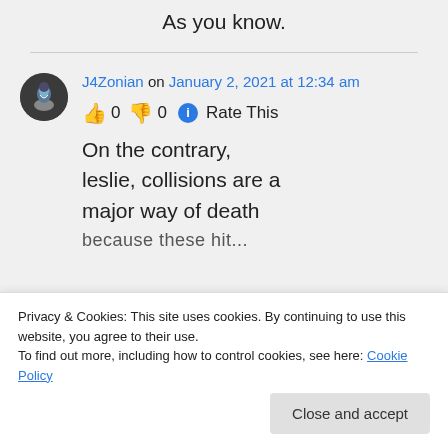As you know.
J4Zonian on January 2, 2021 at 12:34 am
👍 0 👎 0 ℹ Rate This
On the contrary, leslie, collisions are a major way of death
because these hit...
Privacy & Cookies: This site uses cookies. By continuing to use this website, you agree to their use.
To find out more, including how to control cookies, see here: Cookie Policy